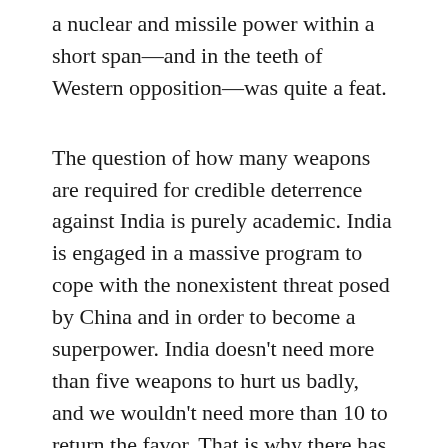a nuclear and missile power within a short span—and in the teeth of Western opposition—was quite a feat.
The question of how many weapons are required for credible deterrence against India is purely academic. India is engaged in a massive program to cope with the nonexistent threat posed by China and in order to become a superpower. India doesn't need more than five weapons to hurt us badly, and we wouldn't need more than 10 to return the favor. That is why there has been no war between us for the past 40